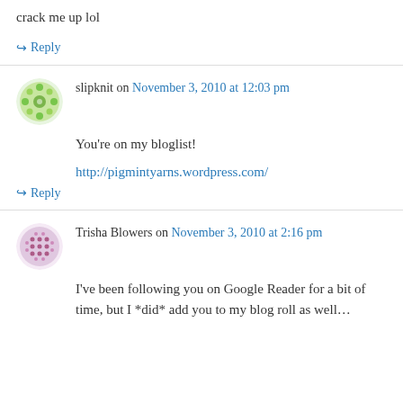crack me up lol
↪ Reply
slipknit on November 3, 2010 at 12:03 pm
You're on my bloglist!
http://pigmintyarns.wordpress.com/
↪ Reply
Trisha Blowers on November 3, 2010 at 2:16 pm
I've been following you on Google Reader for a bit of time, but I *did* add you to my blog roll as well…